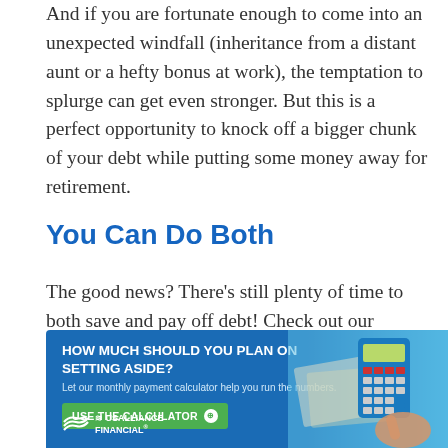And if you are fortunate enough to come into an unexpected windfall (inheritance from a distant aunt or a hefty bonus at work), the temptation to splurge can get even stronger. But this is a perfect opportunity to knock off a bigger chunk of your debt while putting some money away for retirement.
You Can Do Both
The good news? There’s still plenty of time to both save and pay off debt! Check out our monthly payment calculator to help you figure out what your monthly payments could be.
[Figure (infographic): Blue banner advertisement for USALLIANCE Financial monthly payment calculator. Heading: HOW MUCH SHOULD YOU PLAN ON SETTING ASIDE? Subtext: Let our monthly payment calculator help you run the numbers. Green button: USE THE CALCULATOR with a badge icon. USALLIANCE FINANCIAL logo. Right side shows a hand using a blue calculator with paper currency.]